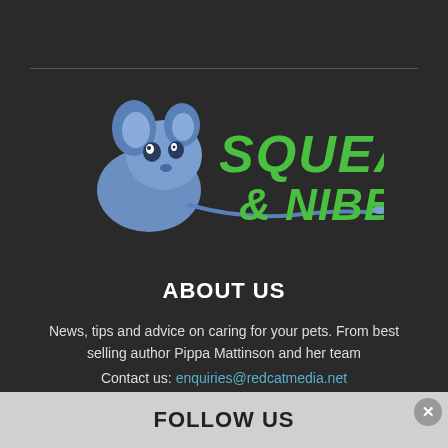[Figure (logo): Squeaks & Nibbles logo featuring a blue cartoon mouse/elephant with large green bold text reading SQUEAKS & NIBBLES, with a long blue tail extending to the right]
ABOUT US
News, tips and advice on caring for your pets. From best selling author Pippa Mattinson and her team
Contact us: enquiries@redcatmedia.net
FOLLOW US